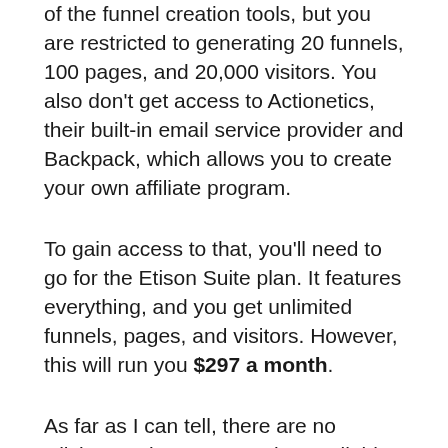of the funnel creation tools, but you are restricted to generating 20 funnels, 100 pages, and 20,000 visitors. You also don't get access to Actionetics, their built-in email service provider and Backpack, which allows you to create your own affiliate program.
To gain access to that, you'll need to go for the Etison Suite plan. It features everything, and you get unlimited funnels, pages, and visitors. However, this will run you $297 a month.
As far as I can tell, there are no ClickFunnels coupon codes available. However, you can buy Funnel Hacks for $997 which gives you 6 months